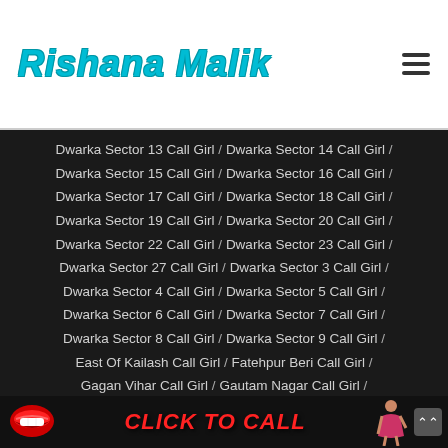Rishana Malik
Dwarka Sector 13 Call Girl / Dwarka Sector 14 Call Girl / Dwarka Sector 15 Call Girl / Dwarka Sector 16 Call Girl / Dwarka Sector 17 Call Girl / Dwarka Sector 18 Call Girl / Dwarka Sector 19 Call Girl / Dwarka Sector 20 Call Girl / Dwarka Sector 22 Call Girl / Dwarka Sector 23 Call Girl / Dwarka Sector 27 Call Girl / Dwarka Sector 3 Call Girl / Dwarka Sector 4 Call Girl / Dwarka Sector 5 Call Girl / Dwarka Sector 6 Call Girl / Dwarka Sector 7 Call Girl / Dwarka Sector 8 Call Girl / Dwarka Sector 9 Call Girl / East Of Kailash Call Girl / Fatehpur Beri Call Girl / Gagan Vihar Call Girl / Gautam Nagar Call Girl / Geeta Colony Call Girl / Ghitorni Call Girl / Gokalpur Call Girl / Golf Links Call Girl / Gole Market Call Girl / Govindpuri Call Girl / Govindpuri Extension Call Girl / Greater Kailash 1 Call Girl
[Figure (infographic): Click to Call banner with red lips icon and woman silhouette]